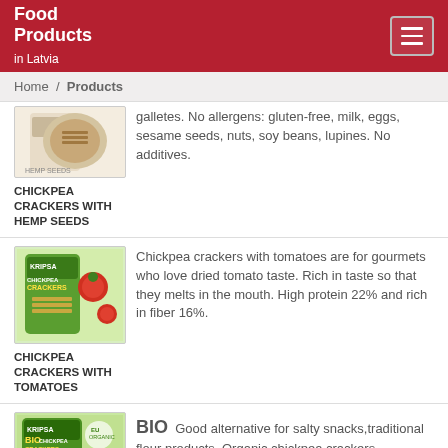Food Products in Latvia
Home / Products
galletes. No allergens: gluten-free, milk, eggs, sesame seeds, nuts, soy beans, lupines. No additives.
[Figure (photo): Product image of Chickpea Crackers with Hemp Seeds packaging]
CHICKPEA CRACKERS WITH HEMP SEEDS
Chickpea crackers with tomatoes are for gourmets who love dried tomato taste. Rich in taste so that they melts in the mouth. High protein 22% and rich in fiber 16%.
[Figure (photo): Product image of Chickpea Crackers with Tomatoes packaging (green box)]
CHICKPEA CRACKERS WITH TOMATOES
BIO  Good alternative for salty snacks,traditional flour products. Organic chickpea crackers
[Figure (photo): Product image of BIO Chickpea Crackers packaging (green box with BIO label)]